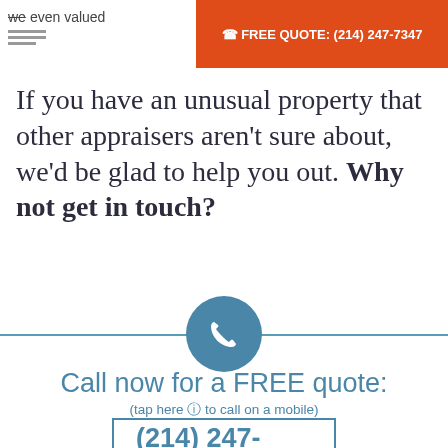we even valued | FREE QUOTE: (214) 247-7347
If you have an unusual property that other appraisers aren't sure about, we'd be glad to help you out. Why not get in touch?
[Figure (illustration): Blue circle with white telephone handset icon, centered on a horizontal divider line]
Call now for a FREE quote:
(tap here ⊕ to call on a mobile)
(214) 247-7347